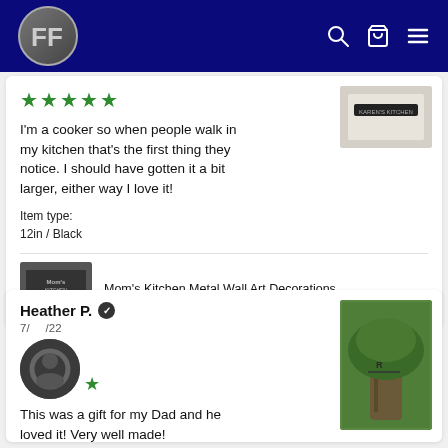AF (logo) — navigation header with search, cart, and menu icons
[Figure (photo): Product photo of Karen's Kitchen metal wall art sign on a white background, top-right of first review]
★★★★★
I'm a cooker so when people walk in my kitchen that's the first thing they notice. I should have gotten it a bit larger, either way I love it!
Item type:
12in / Black
[Figure (photo): Thumbnail of Mom's Kitchen Metal Wall Art Decorations product — dark metal letters on kitchen backdrop]
Mom's Kitchen Metal Wall Art Decorations
Heather P. ✔
7/___/22
[Figure (photo): Avatar circle icon with dark background]
[Figure (photo): Photo of metal wall art decoration mounted outdoors on a tree with green foliage background]
This was a gift for my Dad and he loved it! Very well made!